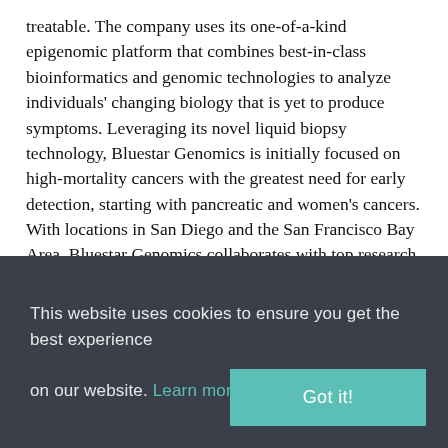treatable. The company uses its one-of-a-kind epigenomic platform that combines best-in-class bioinformatics and genomic technologies to analyze individuals' changing biology that is yet to produce symptoms. Leveraging its novel liquid biopsy technology, Bluestar Genomics is initially focused on high-mortality cancers with the greatest need for early detection, starting with pancreatic and women's cancers. With locations in San Diego and the San Francisco Bay Area, Bluestar Genomics collaborates with top research institutions and is supported by multiple global healthcare and technology investors and pharmaceutical collaborations.
For more information, visit http://www.bluestargenomics.com or
This website uses cookies to ensure you get the best experience on our website. Learn more
Got it!